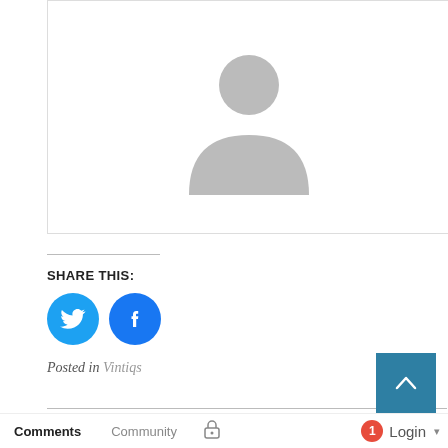[Figure (photo): Generic user avatar placeholder — grey silhouette of a person on white background]
SHARE THIS:
[Figure (other): Twitter and Facebook circular share buttons]
Posted in Vintiqs
Introducing Maison Blanche Vintage Furniture Paint at our Keller Location →
Comments   Community   🔒   1   Login ▾